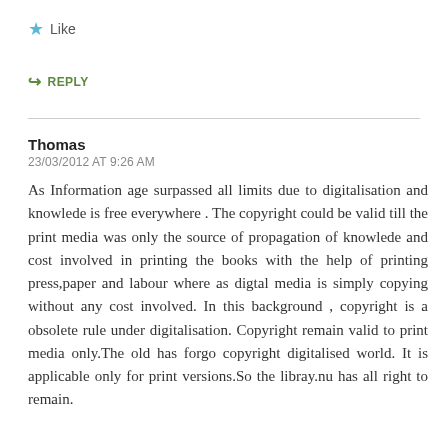★ Like
↪ REPLY
Thomas
23/03/2012 AT 9:26 AM
As Information age surpassed all limits due to digitalisation and knowlede is free everywhere . The copyright could be valid till the print media was only the source of propagation of knowlede and cost involved in printing the books with the help of printing press,paper and labour where as digtal media is simply copying without any cost involved. In this background , copyright is a obsolete rule under digitalisation. Copyright remain valid to print media only.The old has forgo copyright digitalised world. It is applicable only for print versions.So the libray.nu has all right to remain.